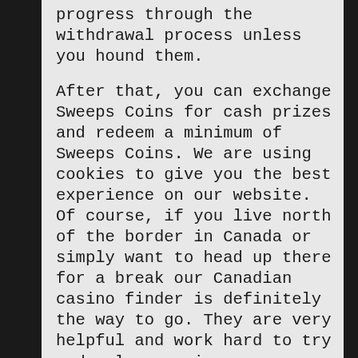progress through the withdrawal process unless you hound them.
After that, you can exchange Sweeps Coins for cash prizes and redeem a minimum of Sweeps Coins. We are using cookies to give you the best experience on our website. Of course, if you live north of the border in Canada or simply want to head up there for a break our Canadian casino finder is definitely the way to go. They are very helpful and work hard to try and solve any issues.
We use cookies on this site to enhance your user experience. This slot is like a staycation, with a beach setting and three jackpots, including the motherlode. Chumba also regularly runs purchase promotion sweepstakes with free Sweeps Coins. We will try our best to keep this page updated as soon as we found something working. Officially there are only three sources of getting chips, one from Facebook Page, second from Twitter and the last is from Email. Ignition benefits from this site, however, it is also with a long